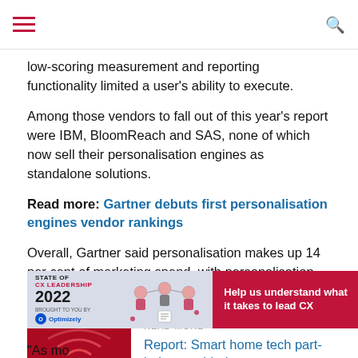low-scoring measurement and reporting functionality limited a user's ability to execute.
Among those vendors to fall out of this year's report were IBM, BloomReach and SAS, none of which now sell their personalisation engines as standalone solutions.
Read more: Gartner debuts first personalisation engines vendor rankings
Overall, Gartner said personalisation makes up 14 per cent of marketing spend, with personalisation engine adoption up 28 per cent since 2016.
[Figure (photo): Smart home tech photo with red wifi/signal imagery and dark silhouette]
READ MORE
Report: Smart home tech part-help, part-hindrance
[Figure (infographic): State of CX Leadership 2022 advertisement banner with Optimizely branding and illustration]
“As mo